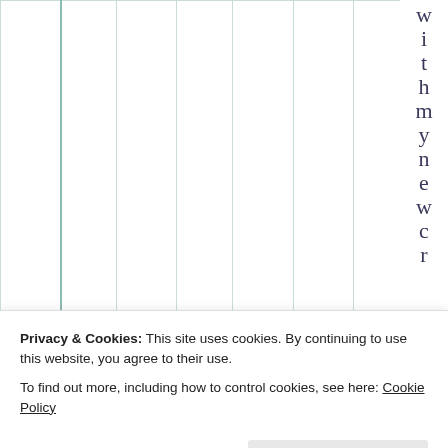|  |  |  |  |  |  |  |
|  |  |  |  |  |  |  |
w i t h m y n e w c r
Privacy & Cookies: This site uses cookies. By continuing to use this website, you agree to their use.
To find out more, including how to control cookies, see here: Cookie Policy
Close and accept